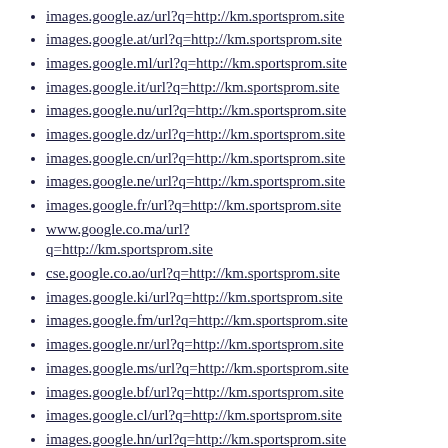images.google.az/url?q=http://km.sportsprom.site
images.google.at/url?q=http://km.sportsprom.site
images.google.ml/url?q=http://km.sportsprom.site
images.google.it/url?q=http://km.sportsprom.site
images.google.nu/url?q=http://km.sportsprom.site
images.google.dz/url?q=http://km.sportsprom.site
images.google.cn/url?q=http://km.sportsprom.site
images.google.ne/url?q=http://km.sportsprom.site
images.google.fr/url?q=http://km.sportsprom.site
www.google.co.ma/url?q=http://km.sportsprom.site
cse.google.co.ao/url?q=http://km.sportsprom.site
images.google.ki/url?q=http://km.sportsprom.site
images.google.fm/url?q=http://km.sportsprom.site
images.google.nr/url?q=http://km.sportsprom.site
images.google.ms/url?q=http://km.sportsprom.site
images.google.bf/url?q=http://km.sportsprom.site
images.google.cl/url?q=http://km.sportsprom.site
images.google.hn/url?q=http://km.sportsprom.site